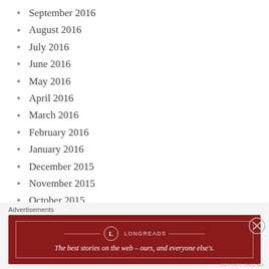September 2016
August 2016
July 2016
June 2016
May 2016
April 2016
March 2016
February 2016
January 2016
December 2015
November 2015
October 2015
September 2015
Advertisements — Longreads: The best stories on the web – ours, and everyone else's.